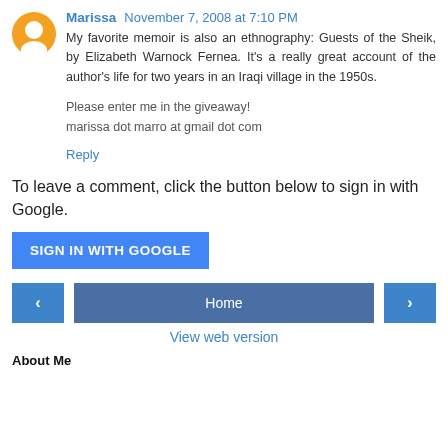Marissa November 7, 2008 at 7:10 PM
My favorite memoir is also an ethnography: Guests of the Sheik, by Elizabeth Warnock Fernea. It's a really great account of the author's life for two years in an Iraqi village in the 1950s.
Please enter me in the giveaway!
marissa dot marro at gmail dot com
Reply
To leave a comment, click the button below to sign in with Google.
[Figure (other): Blue SIGN IN WITH GOOGLE button]
[Figure (other): Navigation bar with left arrow, Home button, right arrow]
View web version
About Me